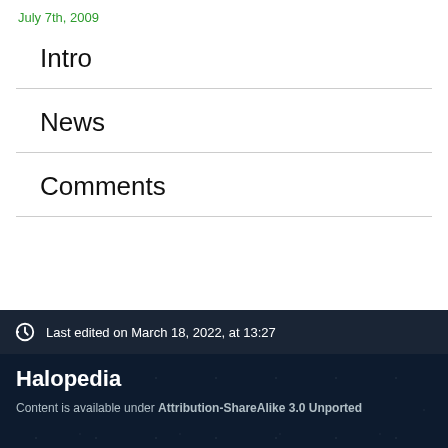July 7th, 2009
Intro
News
Comments
Last edited on March 18, 2022, at 13:27
Halopedia
Content is available under Attribution-ShareAlike 3.0 Unported